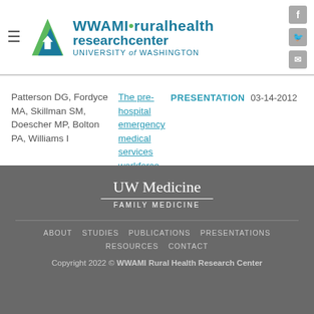WWAMI Rural Health Research Center — University of Washington
| Authors | Title | Type | Date |
| --- | --- | --- | --- |
| Patterson DG, Fordyce MA, Skillman SM, Doescher MP, Bolton PA, Williams I | The pre-hospital emergency medical services workforce in rural areas: results from a survey in nine states | PRESENTATION | 03-14-2012 |
UW Medicine FAMILY MEDICINE | ABOUT STUDIES PUBLICATIONS PRESENTATIONS RESOURCES CONTACT | Copyright 2022 © WWAMI Rural Health Research Center